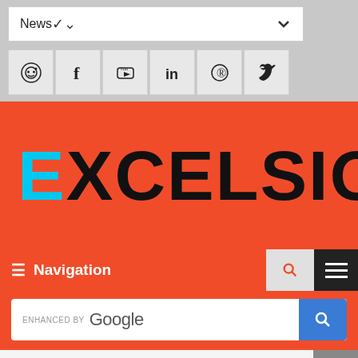News
[Figure (illustration): Social media icon bar: Reddit, Facebook, YouTube, LinkedIn, Pinterest, Twitter icons]
[Figure (logo): EXCELSIO logo on orange background, E in cyan, rest in black]
≡ Navigation
[Figure (screenshot): Google enhanced search bar with blue search button]
Recent News
ares to 'make history' with Artemis